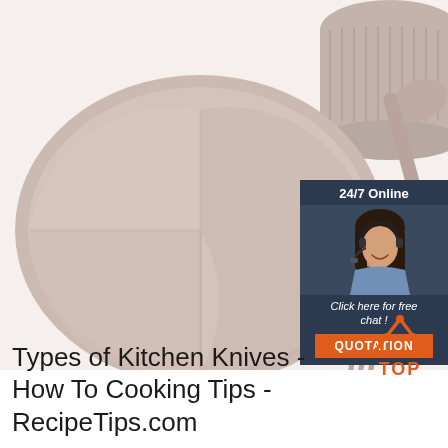[Figure (photo): Silicone baby feeding set with divided plate, bowl, spoon and fork with wooden handles in dusty pink/mauve color, on white background]
[Figure (infographic): Ad box with dark navy background showing '24/7 Online' text, woman with headset, 'Click here for free chat!' italic text, and orange QUOTATION button]
[Figure (infographic): TOP button with orange triangle/arrow icon and dots, with orange bold text 'TOP']
Types of Kitchen Knives - How To Cooking Tips - RecipeTips.com